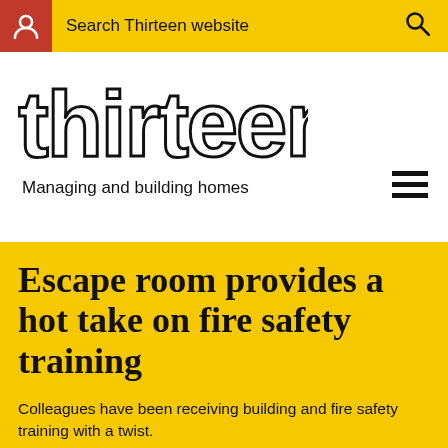Search Thirteen website
[Figure (logo): Thirteen logo - outline block letters spelling 'thirteen']
Managing and building homes
Escape room provides a hot take on fire safety training
Colleagues have been receiving building and fire safety training with a twist.